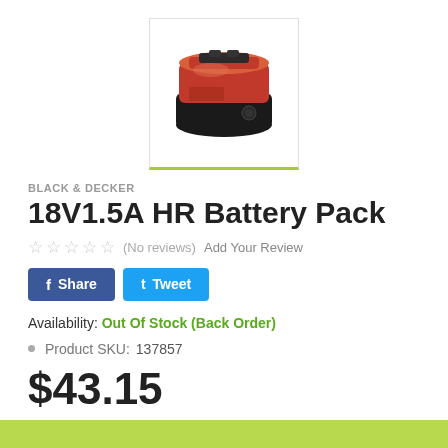[Figure (photo): Black & Decker 18V1.5A HR Battery Pack product photo showing a red and black battery pack on white background]
BLACK & DECKER
18V1.5A HR Battery Pack
☆ ☆ ☆ ☆ ☆ (No reviews)  Add Your Review
f Share   Tweet
Availability: Out Of Stock (Back Order)
Product SKU:   137857
$43.15